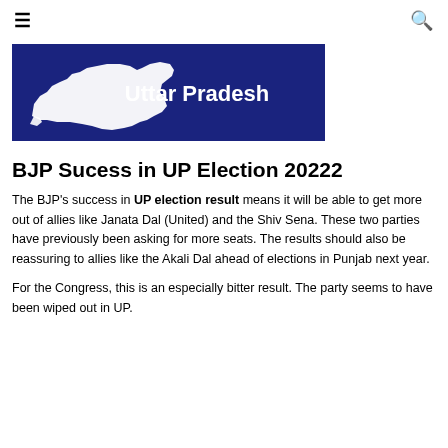≡  🔍
[Figure (map): Dark navy blue banner showing a white silhouette map of Uttar Pradesh state with bold white text 'Uttar Pradesh' on the right side]
BJP Sucess in UP Election 20222
The BJP's success in UP election result means it will be able to get more out of allies like Janata Dal (United) and the Shiv Sena. These two parties have previously been asking for more seats. The results should also be reassuring to allies like the Akali Dal ahead of elections in Punjab next year.
For the Congress, this is an especially bitter result. The party seems to have been wiped out in UP.